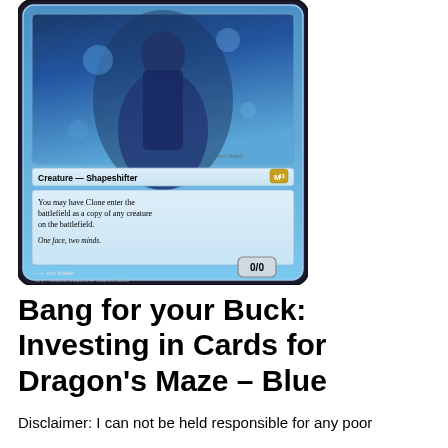[Figure (illustration): Magic: The Gathering card named Clone from M13 set. Shows a blue creature Shapeshifter illustration at top depicting a humanoid figure in blue armor. Below illustration is card type line reading 'Creature — Shapeshifter' with M13 set symbol. Text box reads: 'You may have Clone enter the battlefield as a copy of any creature on the battlefield.' Flavor text in italics: 'One face, two minds.' Power/toughness box shows 0/0. Artist credit: Kev Walker. Copyright: TM & © 1993-2012 Wizards of the Coast LLC. 45/249.]
Bang for your Buck: Investing in Cards for Dragon's Maze – Blue
Disclaimer: I can not be held responsible for any poor